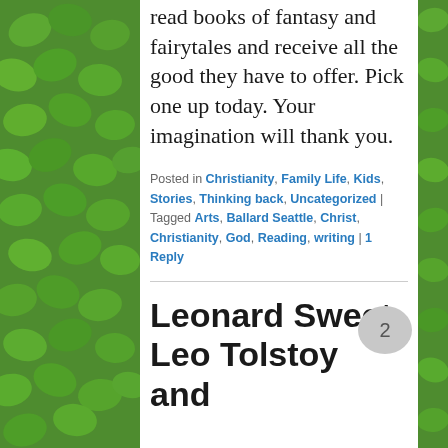read books of fantasy and fairytales and receive all the good they have to offer. Pick one up today. Your imagination will thank you.
Posted in Christianity, Family Life, Kids, Stories, Thinking back, Uncategorized | Tagged Arts, Ballard Seattle, Christ, Christianity, God, Reading, writing | 1 Reply
Leonard Sweet, Leo Tolstoy and